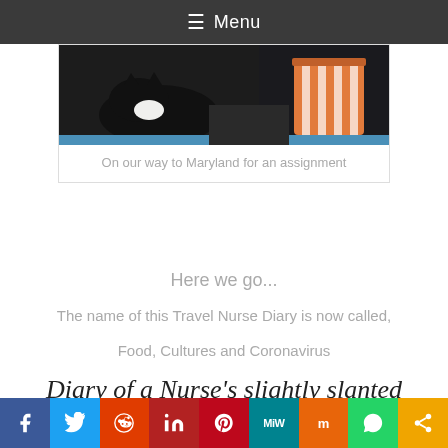☰ Menu
[Figure (photo): Photo of a cat and an orange striped cup on a dark surface]
On our way to Maryland for an assignment
Here we go...
The name of this Travel Nurse Diary is now called,
Food, Cultures and Coronavirus
Diary of a Nurse's slightly slanted
f  Twitter  Reddit  in  Pinterest  MiW  Mix  WhatsApp  Share